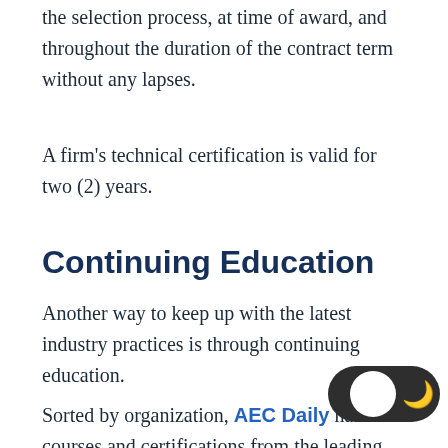the selection process, at time of award, and throughout the duration of the contract term without any lapses.
A firm's technical certification is valid for two (2) years.
Continuing Education
Another way to keep up with the latest industry practices is through continuing education.
Sorted by organization, AEC Daily has courses and certifications from the leading